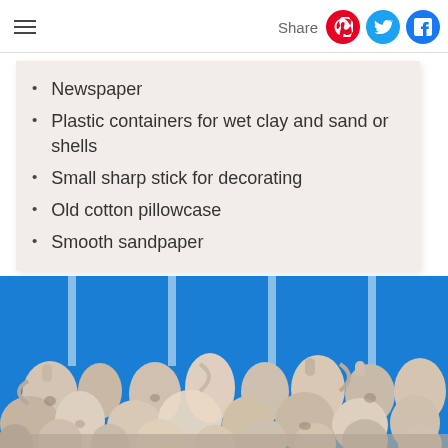Share
Newspaper
Plastic containers for wet clay and sand or shells
Small sharp stick for decorating
Old cotton pillowcase
Smooth sandpaper
[Figure (photo): A large collection of clay pottery jugs, vases, and pots arranged in a pile in front of a bright blue wall background.]